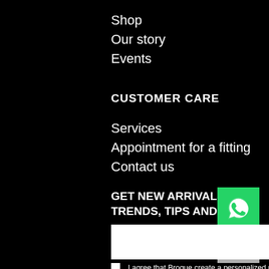Shop
Our story
Events
CUSTOMER CARE
Services
Appointment for a fitting
Contact us
GET NEW ARRIVALS, TRENDS, TIPS AND MORE
[Figure (illustration): WhatsApp icon on green background]
[Figure (illustration): Scroll to top arrow button on grey background]
I agree that Brogue create a personalized user